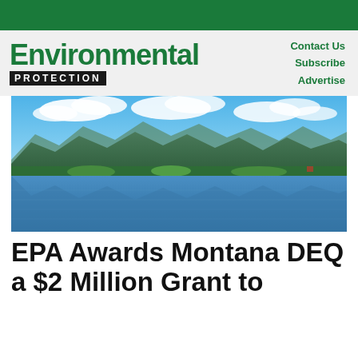Environmental Protection
Contact Us
Subscribe
Advertise
[Figure (photo): Scenic mountain lake landscape with blue sky, white clouds, green forested mountains, and their reflection in calm water]
EPA Awards Montana DEQ a $2 Million Grant to